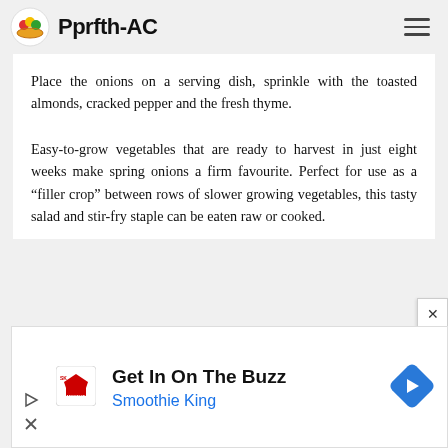Pprfth-AC
Place the onions on a serving dish, sprinkle with the toasted almonds, cracked pepper and the fresh thyme.
Easy-to-grow vegetables that are ready to harvest in just eight weeks make spring onions a firm favourite. Perfect for use as a “filler crop” between rows of slower growing vegetables, this tasty salad and stir-fry staple can be eaten raw or cooked.
[Figure (infographic): Advertisement banner: Smoothie King - Get In On The Buzz]